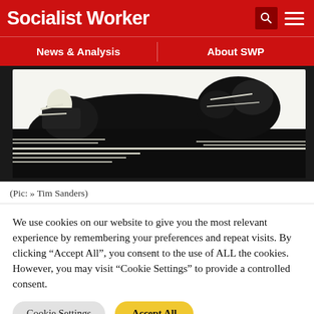Socialist Worker
News & Analysis | About SWP
[Figure (illustration): Black and white woodcut-style illustration showing a reclining figure with bold, high-contrast ink strokes]
(Pic: » Tim Sanders)
We use cookies on our website to give you the most relevant experience by remembering your preferences and repeat visits. By clicking "Accept All", you consent to the use of ALL the cookies. However, you may visit "Cookie Settings" to provide a controlled consent.
Cookie Settings | Accept All